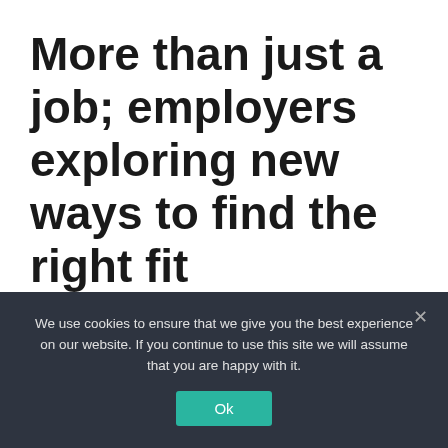More than just a job; employers exploring new ways to find the right fit
August 15, 2022 by admin
We use cookies to ensure that we give you the best experience on our website. If you continue to use this site we will assume that you are happy with it.